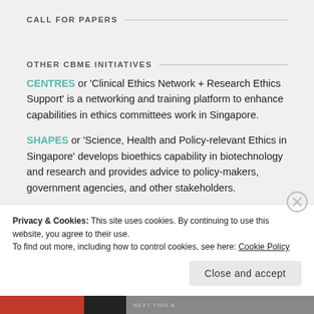CALL FOR PAPERS
OTHER CBME INITIATIVES
CENTRES or 'Clinical Ethics Network + Research Ethics Support' is a networking and training platform to enhance capabilities in ethics committees work in Singapore.
SHAPES or 'Science, Health and Policy-relevant Ethics in Singapore' develops bioethics capability in biotechnology and research and provides advice to policy-makers, government agencies, and other stakeholders.
Privacy & Cookies: This site uses cookies. By continuing to use this website, you agree to their use.
To find out more, including how to control cookies, see here: Cookie Policy
Close and accept